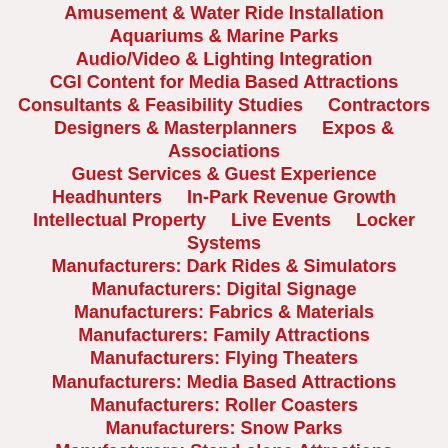Amusement & Water Ride Installation
Aquariums & Marine Parks
Audio/Video & Lighting Integration
CGI Content for Media Based Attractions
Consultants & Feasibility Studies    Contractors
Designers & Masterplanners    Expos & Associations
Guest Services & Guest Experience
Headhunters    In-Park Revenue Growth
Intellectual Property    Live Events    Locker Systems
Manufacturers: Dark Rides & Simulators
Manufacturers: Digital Signage
Manufacturers: Fabrics & Materials
Manufacturers: Family Attractions
Manufacturers: Flying Theaters
Manufacturers: Media Based Attractions
Manufacturers: Roller Coasters
Manufacturers: Snow Parks
Manufacturers: Stand-alone Attractions
Manufacturers: Surf Machines & Simulators